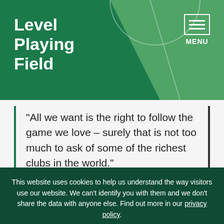[Figure (logo): Level Playing Field logo with white text on dark green background, diagonal light green stripe, and soccer field line detail]
[Figure (other): Menu button icon (three horizontal lines) with MENU label, white on dark green]
“All we want is the right to follow the game we love – surely that is not too much to ask of some of the richest clubs in the world.”
This website uses cookies to help us understand the way visitors use our website. We can’t identify you with them and we don’t share the data with anyone else. Find out more in our privacy policy.